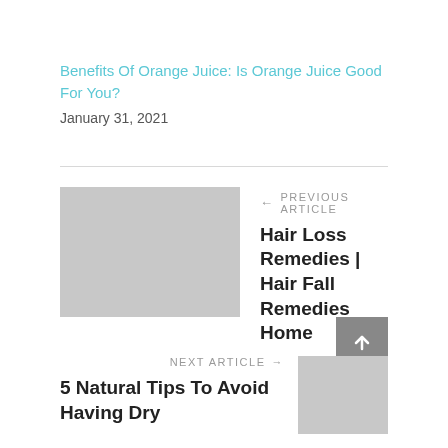Benefits Of Orange Juice: Is Orange Juice Good For You?
January 31, 2021
← PREVIOUS ARTICLE
Hair Loss Remedies | Hair Fall Remedies Home
NEXT ARTICLE →
5 Natural Tips To Avoid Having Dry